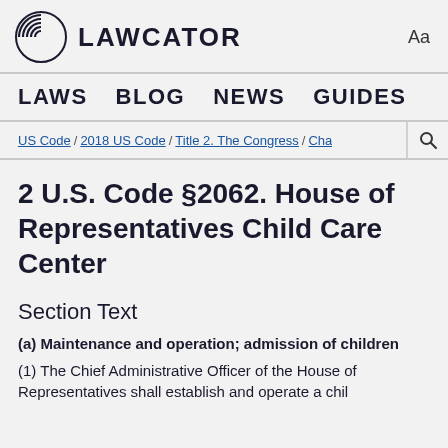LAWCATOR  Aa
LAWS  BLOG  NEWS  GUIDES
US Code / 2018 US Code / Title 2. The Congress / Cha
2 U.S. Code §2062. House of Representatives Child Care Center
Section Text
(a) Maintenance and operation; admission of children
(1) The Chief Administrative Officer of the House of Representatives shall establish and operate a child